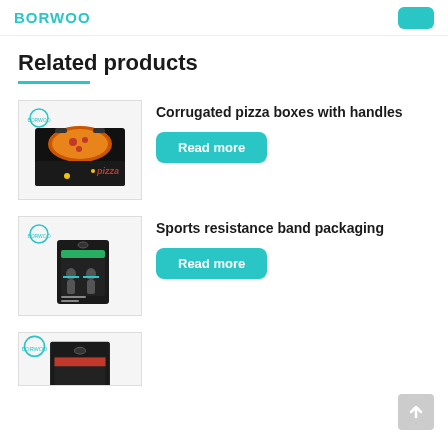BORWOO
Related products
[Figure (photo): Corrugated pizza boxes with handles product image showing a black pizza box with handle]
Corrugated pizza boxes with handles
Read more
[Figure (photo): Sports resistance band packaging showing a black retail box]
Sports resistance band packaging
Read more
[Figure (photo): Third product partially visible at bottom]